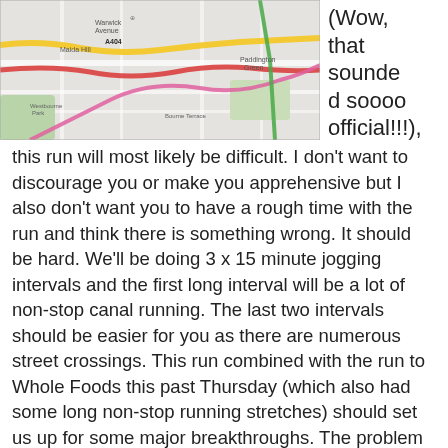[Figure (map): Street map showing London area with colored route lines (red, yellow, green, pink) overlaid on a Google Maps style street map showing areas including Maida Hill, Warwick Avenue, Paddington Green.]
(Wow, that sounded soooo official!!!), this run will most likely be difficult.  I don't want to discourage you or make you apprehensive but I also don't want you to have a rough time with the run and think there is something wrong.  It should be hard.  We'll be doing 3 x 15 minute jogging intervals and the first long interval will be a lot of non-stop canal running.  The last two intervals should be easier for you as there are numerous street crossings.  This run combined with the run to Whole Foods this past Thursday (which also had some long non-stop running stretches) should set us up for some major breakthroughs.  The problem is that our bodies are trying to figure out where to get fuel for this type of running.  For most of you, running is entirely new.  Your body hasn't learned how to fuel itself – but it will!!!  Hang in there and after 2-3 weeks this will seem easier again.